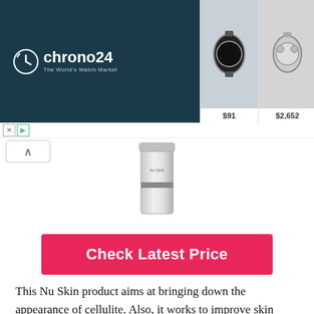[Figure (screenshot): Chrono24 advertisement banner showing watch marketplace with logo and watch thumbnails priced at $91, $2,652, $1,987, $6,449]
[Figure (photo): Product image of Nu Skin skincare product in white/silver cylindrical container]
[Figure (other): Pink 'Check Latest Price' button]
This Nu Skin product aims at bringing down the appearance of cellulite. Also, it works to improve skin firmness and improves skin smoothness. It addresses the signs of aging by making the skin smooth. It also aids with retaining the moisture content in the skin.
Hyaluronic acid is one of the key ingredients in this product. This ingredient ensures that the skin maintains